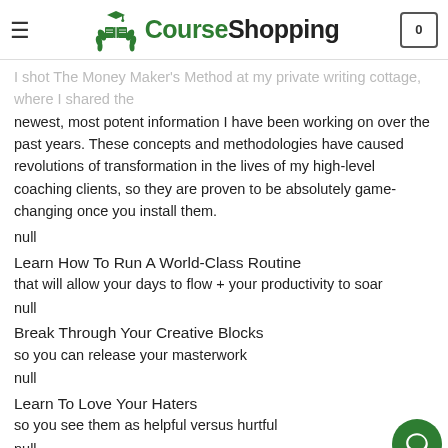CourseShopping
I shot The Money Maker's Method at my private writing cottage, where I shared the newest, most potent information I have been working on over the past years. These concepts and methodologies have caused revolutions of transformation in the lives of my high-level coaching clients, so they are proven to be absolutely game-changing once you install them.
null
Learn How To Run A World-Class Routine
that will allow your days to flow + your productivity to soar
null
Break Through Your Creative Blocks
so you can release your masterwork
null
Learn To Love Your Haters
so you see them as helpful versus hurtful
null